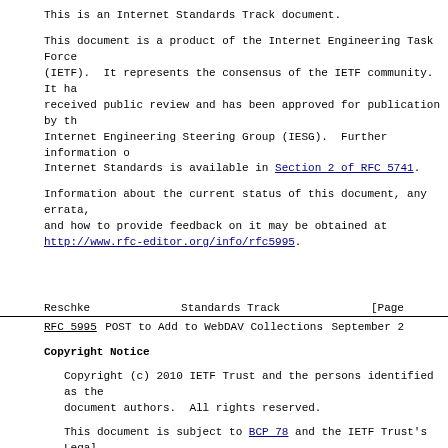This is an Internet Standards Track document.
This document is a product of the Internet Engineering Task Force (IETF). It represents the consensus of the IETF community. It has received public review and has been approved for publication by the Internet Engineering Steering Group (IESG). Further information on Internet Standards is available in Section 2 of RFC 5741.
Information about the current status of this document, any errata, and how to provide feedback on it may be obtained at http://www.rfc-editor.org/info/rfc5995.
Reschke                         Standards Track                    [Page
RFC 5995            POST to Add to WebDAV Collections         September 2
Copyright Notice
Copyright (c) 2010 IETF Trust and the persons identified as the document authors. All rights reserved.
This document is subject to BCP 78 and the IETF Trust's Legal Provisions Relating to IETF Documents (http://trustee.ietf.org/license-info) in effect on the date of publication of this document. Please review these documents carefully, as they describe your rights and restrictions with respect to this document. Code Components extracted from this document must include Simplified BSD License text as described in Section 4.e of the Trust Legal Provisions and are provided without warranty as